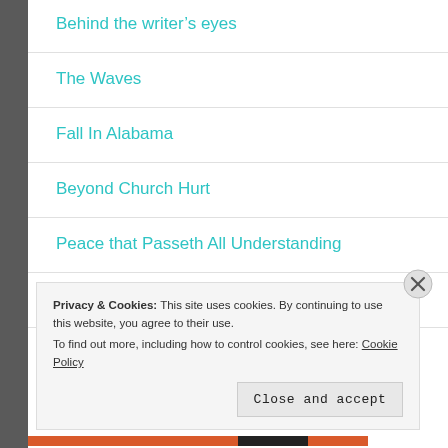Behind the writer's eyes
The Waves
Fall In Alabama
Beyond Church Hurt
Peace that Passeth All Understanding
Build Your Hopes On Things Eternal
Privacy & Cookies: This site uses cookies. By continuing to use this website, you agree to their use. To find out more, including how to control cookies, see here: Cookie Policy
Close and accept